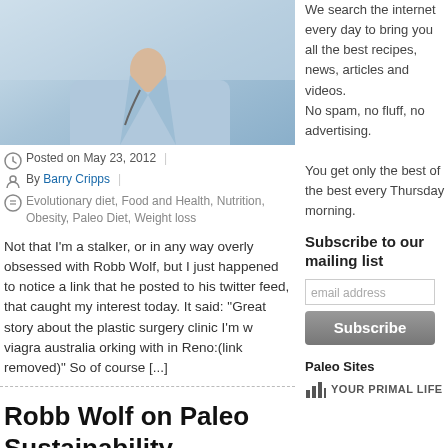[Figure (photo): Photo of a person in a light blue medical/clinical coat, upper body visible, cropped at top portion]
Posted on May 23, 2012
By Barry Cripps
Evolutionary diet, Food and Health, Nutrition, Obesity, Paleo Diet, Weight loss
Not that I'm a stalker, or in any way overly obsessed with Robb Wolf, but I just happened to notice a link that he posted to his twitter feed, that caught my interest today. It said: "Great story about the plastic surgery clinic I'm w viagra australia orking with in Reno:(link removed)" So of course [...]
Robb Wolf on Paleo Sustainability
Posted on May 18, 2012
By Barry Cripps
We search the internet every day to bring you all the best recipes, news, articles and videos.
No spam, no fluff, no advertising.

You get only the best of the best every Thursday morning.
Subscribe to our mailing list
email address
Subscribe
Paleo Sites
[Figure (logo): YOUR PRIMAL LIFE logo with bar chart icon]